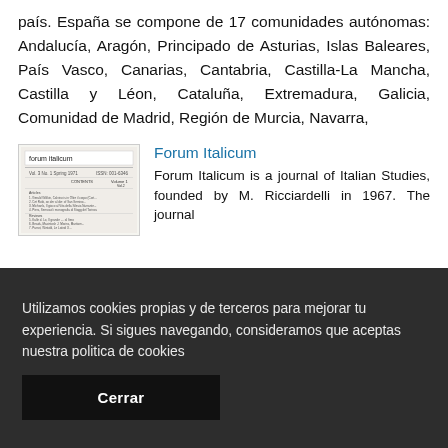país. España se compone de 17 comunidades autónomas: Andalucía, Aragón, Principado de Asturias, Islas Baleares, País Vasco, Canarias, Cantabria, Castilla-La Mancha, Castilla y Léon, Cataluña, Extremadura, Galicia, Comunidad de Madrid, Región de Murcia, Navarra,
[Figure (screenshot): Thumbnail image of Forum Italicum journal cover page]
Forum Italicum
Forum Italicum is a journal of Italian Studies, founded by M. Ricciardelli in 1967. The journal
Utilizamos cookies propias y de terceros para mejorar tu experiencia. Si sigues navegando, consideramos que aceptas nuestra politica de cookies
Cerrar